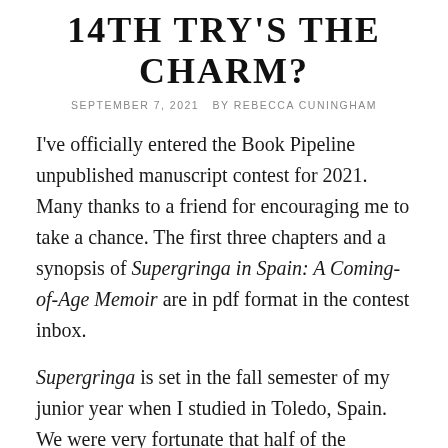14TH TRY'S THE CHARM?
SEPTEMBER 7, 2021   BY REBECCA CUNINGHAM
I've officially entered the Book Pipeline unpublished manuscript contest for 2021. Many thanks to a friend for encouraging me to take a chance. The first three chapters and a synopsis of Supergringa in Spain: A Coming-of-Age Memoir are in pdf format in the contest inbox.
Supergringa is set in the fall semester of my junior year when I studied in Toledo, Spain. We were very fortunate that half of the students in our program were from Latin America and half from the United States. Spanish and cultural